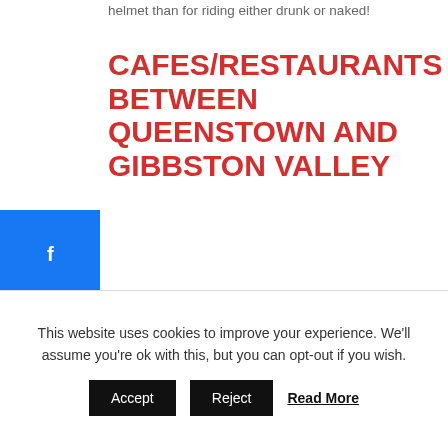helmet than for riding either drunk or naked!
CAFES/RESTAURANTS BETWEEN QUEENSTOWN AND GIBBSTON VALLEY
nce you get to the start of the Gibbston River Ride here are plenty of options to stop and buy lunch:
Karawau Bungy Centre
Chard Farm Winery
This website uses cookies to improve your experience. We'll assume you're ok with this, but you can opt-out if you wish.